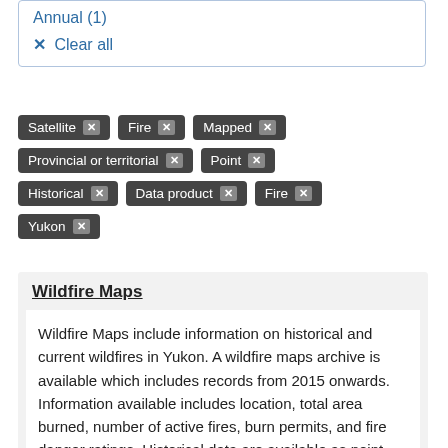Annual (1)
✕ Clear all
Satellite ✕
Fire ✕
Mapped ✕
Provincial or territorial ✕
Point ✕
Historical ✕
Data product ✕
Fire ✕
Yukon ✕
Wildfire Maps
Wildfire Maps include information on historical and current wildfires in Yukon. A wildfire maps archive is available which includes records from 2015 onwards. Information available includes location, total area burned, number of active fires, burn permits, and fire danger ratings. Historical data are available as point and